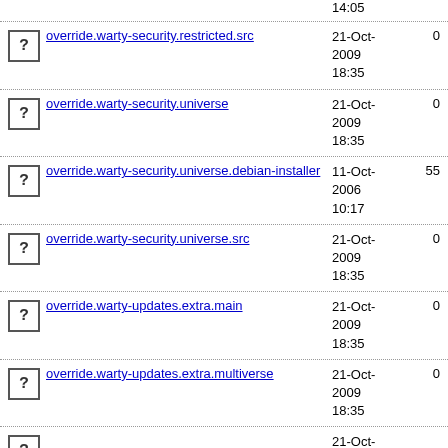14:05
override.warty-security.restricted.src  21-Oct-2009 18:35  0
override.warty-security.universe  21-Oct-2009 18:35  0
override.warty-security.universe.debian-installer  11-Oct-2006 10:17  55
override.warty-security.universe.src  21-Oct-2009 18:35  0
override.warty-updates.extra.main  21-Oct-2009 18:35  0
override.warty-updates.extra.multiverse  21-Oct-2009 18:35  0
21-Oct-...